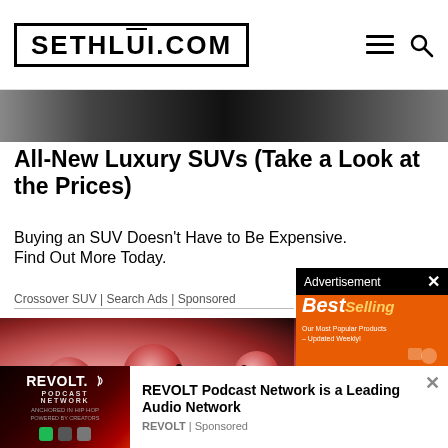SETHLUI.COM
[Figure (photo): Dark car wheel/tire close-up strip banner image]
All-New Luxury SUVs (Take a Look at the Prices)
Buying an SUV Doesn't Have to Be Expensive. Find Out More Today.
Crossover SUV | Search Ads | Sponsored
[Figure (infographic): AliExpress Best Selling advertisement banner with orange background, shopping cart icon, and product icons. Text: Best Selling, Our Most Popular Products – Updated Weekly!, AliExpress, Shop Now >]
[Figure (photo): Close-up photo of human ears with ear piercings, yellow arrow/tag shapes overlaid]
[Figure (logo): REVOLT Podcast Network logo on dark red/black background. Text: REVOLT. PODCAST NETWORK, ANCHORED IN HIP HOP POWERED BY CREATORS]
REVOLT Podcast Network is a Leading Audio Network
REVOLT | Sponsored